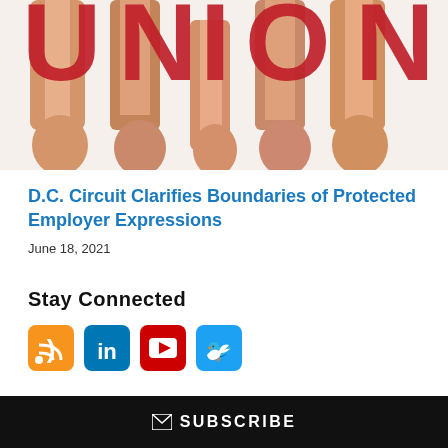[Figure (photo): People holding up large red letters spelling UNION against a white background, with hands and arms visible]
D.C. Circuit Clarifies Boundaries of Protected Employer Expressions
June 18, 2021
Stay Connected
[Figure (infographic): Social media icons: RSS (orange), LinkedIn (blue), YouTube (red), Twitter (light blue)]
SUBSCRIBE